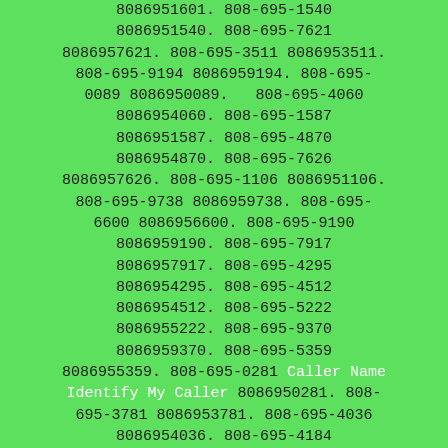8086951601. 808-695-1540 8086951540. 808-695-7621 8086957621. 808-695-3511 8086953511. 808-695-9194 8086959194. 808-695-0089 8086950089. 808-695-4060 8086954060. 808-695-1587 8086951587. 808-695-4870 8086954870. 808-695-7626 8086957626. 808-695-1106 8086951106. 808-695-9738 8086959738. 808-695-6600 8086956600. 808-695-9190 8086959190. 808-695-7917 8086957917. 808-695-4295 8086954295. 808-695-4512 8086954512. 808-695-5222 8086955222. 808-695-9370 8086959370. 808-695-5359 8086955359. 808-695-0281 Caller Name Identify My Caller 8086950281. 808-695-3781 8086953781. 808-695-4036 8086954036. 808-695-4184 8086954184. 808-695-4255 8086954255. 808-695-5923 8086955923. 808-695-1683 8086951683. 808-695-4306 8086954306. 808-695-8848